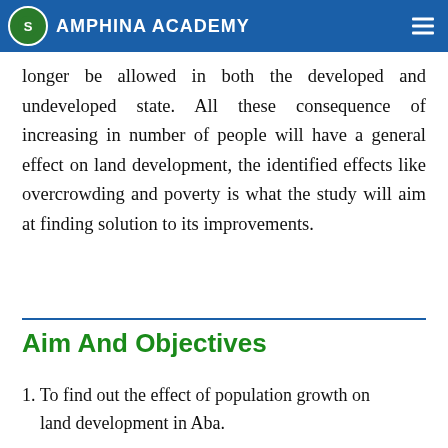AMPHINA ACADEMY
taken quickly, the situation could lead to HUNGER, POVERTY, DISEASE, OVERCROWDING and can no longer be allowed in both the developed and undeveloped state. All these consequence of increasing in number of people will have a general effect on land development, the identified effects like overcrowding and poverty is what the study will aim at finding solution to its improvements.
Aim And Objectives
1. To find out the effect of population growth on land development in Aba.